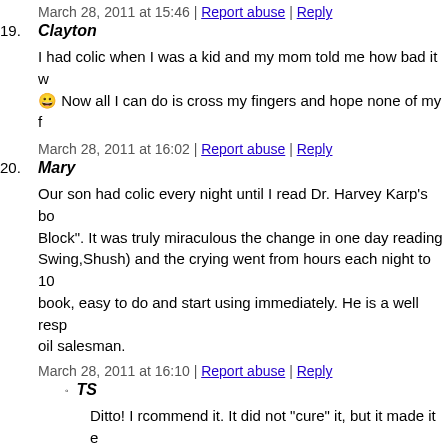March 28, 2011 at 15:46 | Report abuse | Reply
19. Clayton
I had colic when I was a kid and my mom told me how bad it w... 😀 Now all I can do is cross my fingers and hope none of my f...
March 28, 2011 at 16:02 | Report abuse | Reply
20. Mary
Our son had colic every night until I read Dr. Harvey Karp's bo... Block". It was truly miraculous the change in one day reading... Swing,Shush) and the crying went from hours each night to 10... book, easy to do and start using immediately. He is a well resp... oil salesman.
March 28, 2011 at 16:10 | Report abuse | Reply
TS
Ditto! I rcommend it. It did not "cure" it, but it made it e... screamed much, much more without the techniques used...
March 29, 2011 at 13:19 | Report abuse |
21. Terri
Turn on the vacuum cleaner, it worked great with my daughter...